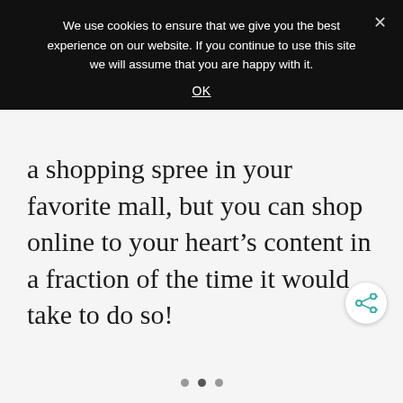We use cookies to ensure that we give you the best experience on our website. If you continue to use this site we will assume that you are happy with it.
OK
a shopping spree in your favorite mall, but you can shop online to your heart's content in a fraction of the time it would take to do so!